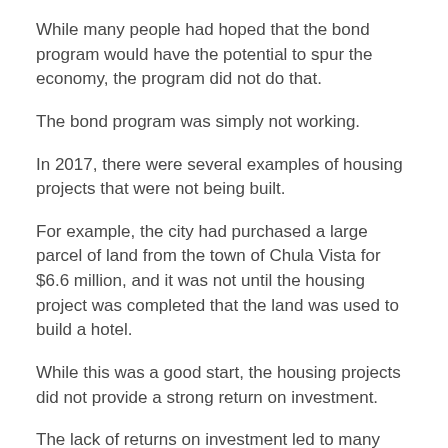While many people had hoped that the bond program would have the potential to spur the economy, the program did not do that.
The bond program was simply not working.
In 2017, there were several examples of housing projects that were not being built.
For example, the city had purchased a large parcel of land from the town of Chula Vista for $6.6 million, and it was not until the housing project was completed that the land was used to build a hotel.
While this was a good start, the housing projects did not provide a strong return on investment.
The lack of returns on investment led to many residents to start calling for the end of the program.
Many people who were in favor of the bond were upset